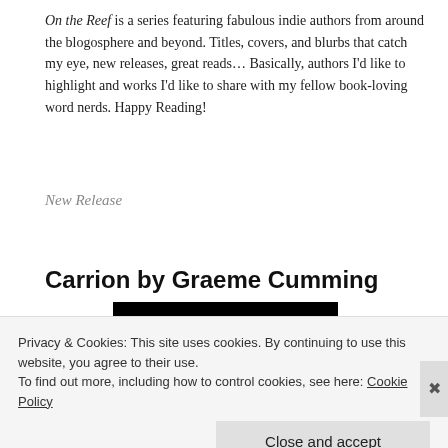On the Reef is a series featuring fabulous indie authors from around the blogosphere and beyond. Titles, covers, and blurbs that catch my eye, new releases, great reads… Basically, authors I'd like to highlight and works I'd like to share with my fellow book-loving word nerds. Happy Reading!
New Release
Carrion by Graeme Cumming
[Figure (illustration): Book cover image with black background and white bold uppercase text reading 'GRAEME CUMMING']
Privacy & Cookies: This site uses cookies. By continuing to use this website, you agree to their use.
To find out more, including how to control cookies, see here: Cookie Policy
Close and accept